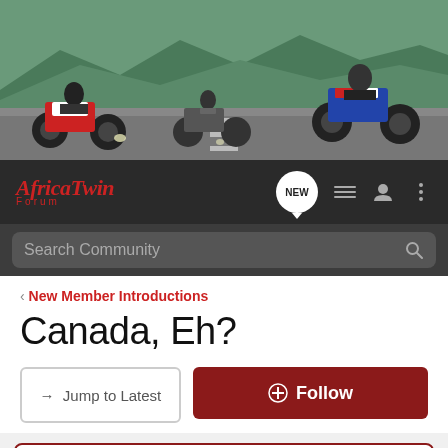[Figure (photo): Hero banner showing three Honda Africa Twin motorcycles riding on a mountain road with scenic landscape background]
[Figure (logo): Africa Twin Forum logo in red italic script with 'forum' subtitle below]
Search Community
< New Member Introductions
Canada, Eh?
→ Jump to Latest
+ Follow
Hey everyone! Enter your ride HERE to be a part of August's Ride of the Month Challenge!